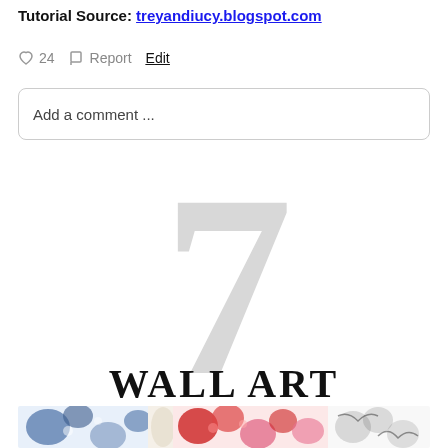Tutorial Source: treyandiucy.blogspot.com
♥ 24   ⚑ Report   Edit
Add a comment ...
7
WALL ART
[Figure (photo): Colorful floral wall art with blue, red, and pink flowers on decorative plates or tiles]